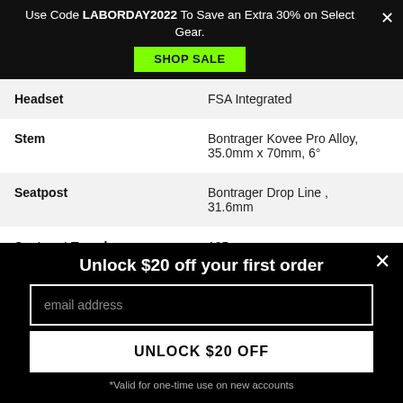Use Code LABORDAY2022 To Save an Extra 30% on Select Gear.
SHOP SALE
| Component | Value |
| --- | --- |
| Headset | FSA Integrated |
| Stem | Bontrager Kovee Pro Alloy, 35.0mm x 70mm, 6° |
| Seatpost | Bontrager Drop Line , 31.6mm |
| Seatpost Travel | 125mm |
Unlock $20 off your first order
email address
UNLOCK $20 OFF
*Valid for one-time use on new accounts